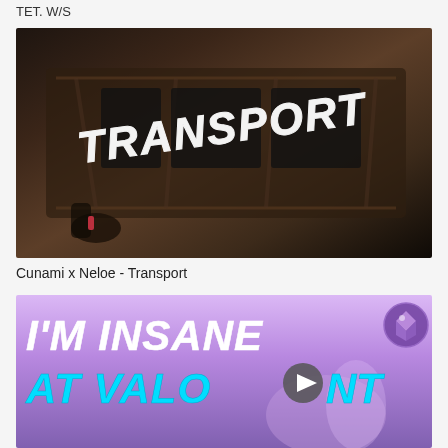ТЕТ. W/S
[Figure (photo): Photo of a burned/destroyed vehicle with graffiti-style text reading 'TRANSPORT' spray-painted over it in white]
Cunami x Neloe - Transport
[Figure (screenshot): Gaming thumbnail with purple/lavender background showing text 'I'M INSANE AT VALORANT' in white and cyan bold italic fonts, with a play button icon and a purple gem/crystal icon in the top right]